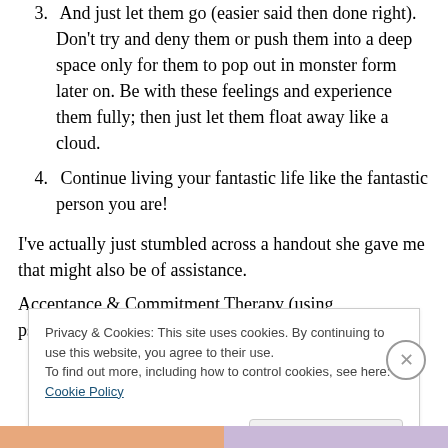3. And just let them go (easier said then done right). Don't try and deny them or push them into a deep space only for them to pop out in monster form later on. Be with these feelings and experience them fully; then just let them float away like a cloud.
4. Continue living your fantastic life like the fantastic person you are!
I've actually just stumbled across a handout she gave me that might also be of assistance.
Acceptance & Commitment Therapy (using psychological
Privacy & Cookies: This site uses cookies. By continuing to use this website, you agree to their use.
To find out more, including how to control cookies, see here: Cookie Policy